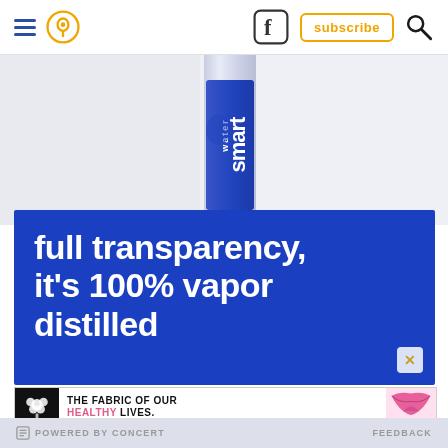[Figure (screenshot): Website navigation bar with hamburger menu, location pin icon (orange), Facebook icon, subscribe button (orange outlined), and search icon on a white background]
[Figure (photo): Partial view of a Smartwater bottle label showing 'smart water' branding on a light gray background]
[Figure (illustration): Blue advertisement banner for Smartwater with white bold text reading 'full transparency, it's 100% vapor distilled']
[Figure (illustration): Cotton advertisement banner with black background logo, text 'THE FABRIC OF OUR HEALTHY LIVES.' with HEALTHY in pink, and a pink bikini underwear image]
POWERED BY CONCERT   FEEDBACK